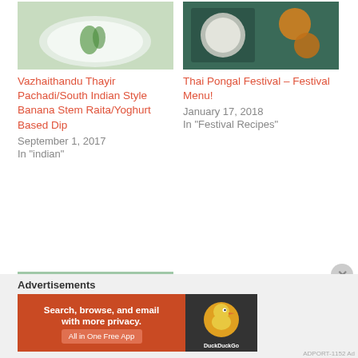[Figure (photo): Food photo of a white bowl with banana stem raita/yoghurt dip with green herb garnish]
Vazhaithandu Thayir Pachadi/South Indian Style Banana Stem Raita/Yoghurt Based Dip
September 1, 2017
In "indian"
[Figure (photo): Food photo showing Thai Pongal festival spread with bowls and round sweets on dark plate]
Thai Pongal Festival – Festival Menu!
January 17, 2018
In "Festival Recipes"
[Figure (photo): Bowl of pomegranate raita with pomegranate seeds and mint leaves in white yoghurt]
Pomegranate Raita
July 29, 2013
In "Condiments"
Advertisements
[Figure (screenshot): DuckDuckGo advertisement banner: Search, browse, and email with more privacy. All in One Free App]